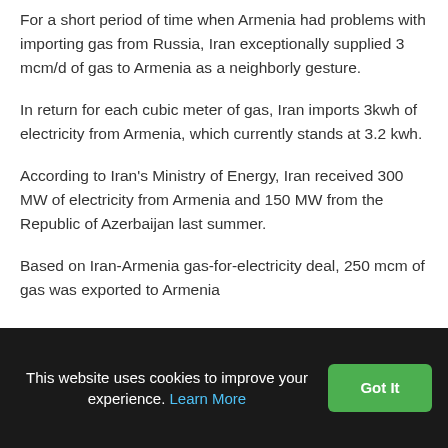For a short period of time when Armenia had problems with importing gas from Russia, Iran exceptionally supplied 3 mcm/d of gas to Armenia as a neighborly gesture.
In return for each cubic meter of gas, Iran imports 3kwh of electricity from Armenia, which currently stands at 3.2 kwh.
According to Iran's Ministry of Energy, Iran received 300 MW of electricity from Armenia and 150 MW from the Republic of Azerbaijan last summer.
Based on Iran-Armenia gas-for-electricity deal, 250 mcm of gas was exported to Armenia
This website uses cookies to improve your experience. Learn More